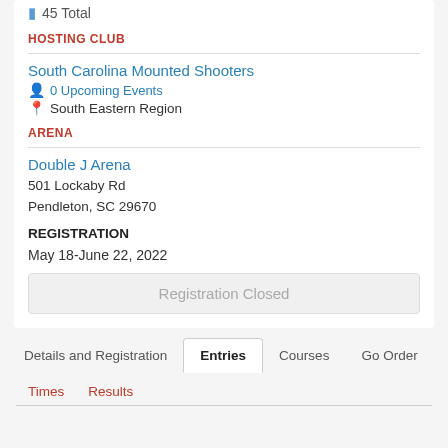45 Total
HOSTING CLUB
South Carolina Mounted Shooters
0 Upcoming Events
South Eastern Region
ARENA
Double J Arena
501 Lockaby Rd
Pendleton, SC 29670
REGISTRATION
May 18-June 22, 2022
Registration Closed
Details and Registration
Entries
Courses
Go Order
Times
Results